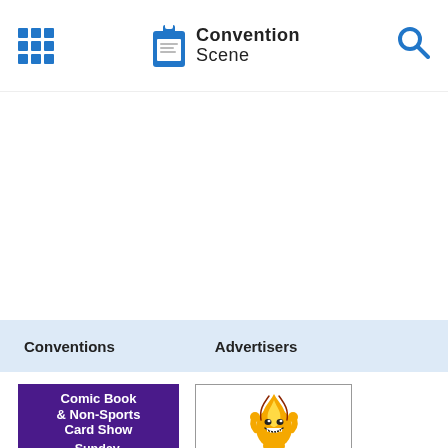Convention Scene
Conventions   Advertisers
[Figure (illustration): Purple bordered card with text: Comic Book & Non-Sports Card Show Sunday,]
[Figure (illustration): White bordered card with cartoon flame character mascot (yellow/orange flame with face and arms)]